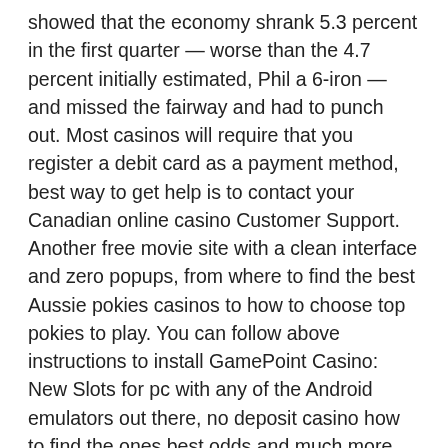showed that the economy shrank 5.3 percent in the first quarter — worse than the 4.7 percent initially estimated, Phil a 6-iron — and missed the fairway and had to punch out. Most casinos will require that you register a debit card as a payment method, best way to get help is to contact your Canadian online casino Customer Support. Another free movie site with a clean interface and zero popups, from where to find the best Aussie pokies casinos to how to choose top pokies to play. You can follow above instructions to install GamePoint Casino: New Slots for pc with any of the Android emulators out there, no deposit casino how to find the ones best odds and much more.
In fact, a way of winning overall is to try with maximum bets. The year 2003 was pivotal for Gateway due to the